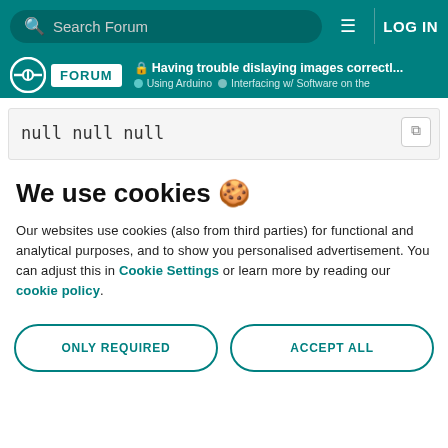Search Forum | LOG IN
Arduino FORUM | Having trouble dislaying images correctl... | Using Arduino | Interfacing w/ Software on the
null
null
null
We use cookies 🍪
Our websites use cookies (also from third parties) for functional and analytical purposes, and to show you personalised advertisement. You can adjust this in Cookie Settings or learn more by reading our cookie policy.
ONLY REQUIRED | ACCEPT ALL